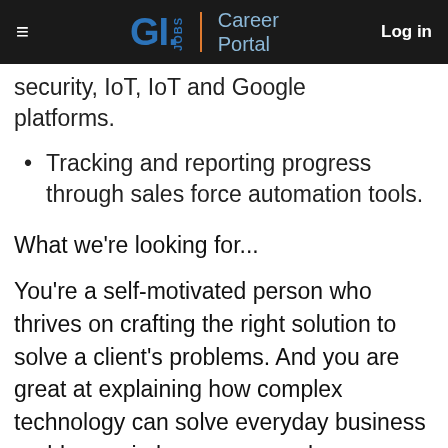GI.JOBS Career Portal | Log in
security, IoT, IoT, and Google platforms.
Tracking and reporting progress through sales force automation tools.
What we're looking for...
You're a self-motivated person who thrives on crafting the right solution to solve a client's problems. And you are great at explaining how complex technology can solve everyday business problems—in language people